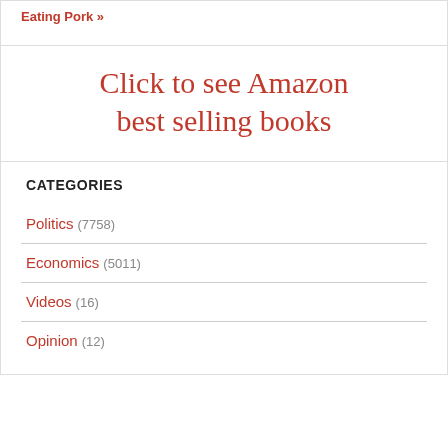Eating Pork »
Click to see Amazon best selling books
CATEGORIES
Politics (7758)
Economics (5011)
Videos (16)
Opinion (12)